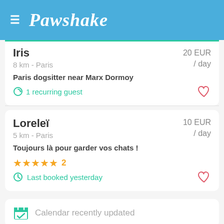Pawshake
Iris
8 km - Paris
Paris dogsitter near Marx Dormoy
1 recurring guest
20 EUR / day
Loreleï
5 km - Paris
Toujours là pour garder vos chats !
★★★★★ 2
Last booked yesterday
10 EUR / day
Calendar recently updated